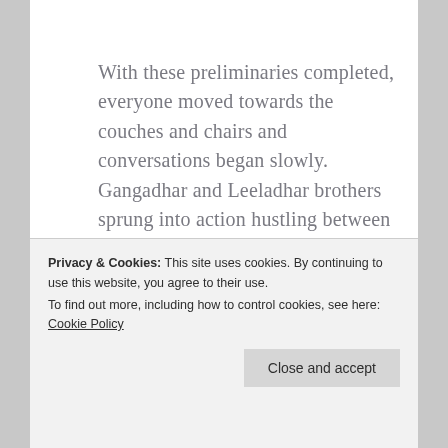With these preliminaries completed, everyone moved towards the couches and chairs and conversations began slowly. Gangadhar and Leeladhar brothers sprung into action hustling between the kitchen and the living room with refreshments.
Privacy & Cookies: This site uses cookies. By continuing to use this website, you agree to their use.
To find out more, including how to control cookies, see here: Cookie Policy
Arnav knew she was looking at him. He could feel